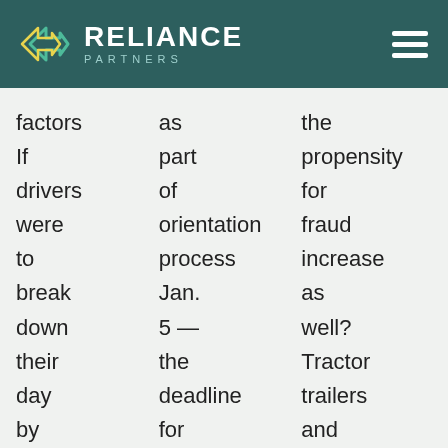RELIANCE PARTNERS
factors If drivers were to break down their day by individual events, in how many
as part of orientation process Jan. 5 — the deadline for conducting annual Drug and Alc
the propensity for fraud increase as well? Tractor trailers and automobiles may share the roadways